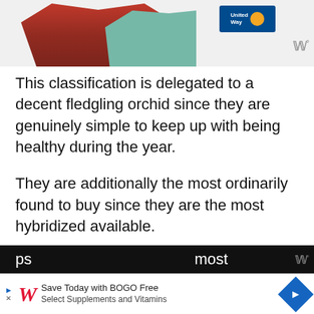[Figure (photo): Top banner showing people wearing colorful clothing (red striped, teal/green) partially visible, with United Way logo (blue box with orange circle) in upper right and Wm logo icon]
This classification is delegated to a decent fledgling orchid since they are genuinely simple to keep up with being healthy during the year.
They are additionally the most ordinarily found to buy since they are the most hybridized available.
The pseudobulbs on these orchids are neither fat nor adjusted yet like tube-shaped canes that become enormous, 2 to 4 feet (0.6 m to 12 m).
It's phenomenal to hear them being alluded to as ps... most pa...
[Figure (screenshot): Bottom advertisement banner: Walgreens ad reading 'Save Today with BOGO Free Select Supplements and Vitamins' with Walgreens W logo and blue arrow diamond icon]